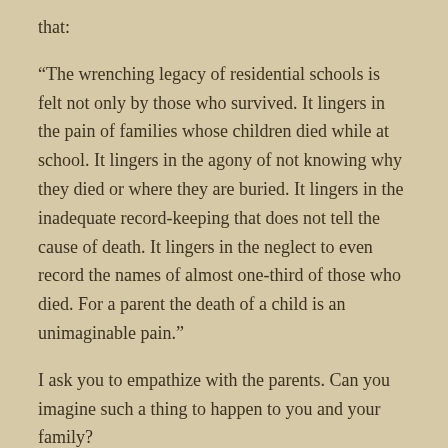that:
“The wrenching legacy of residential schools is felt not only by those who survived. It lingers in the pain of families whose children died while at school. It lingers in the agony of not knowing why they died or where they are buried. It lingers in the inadequate record-keeping that does not tell the cause of death. It lingers in the neglect to even record the names of almost one-third of those who died. For a parent the death of a child is an unimaginable pain.”
I ask you to empathize with the parents. Can you imagine such a thing to happen to you and your family?
Share this: